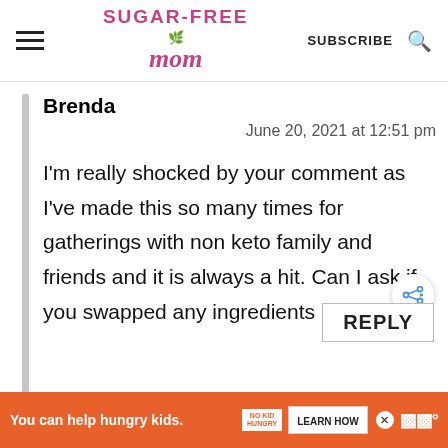Sugar-Free Mom | SUBSCRIBE
Brenda
June 20, 2021 at 12:51 pm
I'm really shocked by your comment as I've made this so many times for gatherings with non keto family and friends and it is always a hit. Can I ask if you swapped any ingredients please?
REPLY
You can help hungry kids. NO KID HUNGRY LEARN HOW